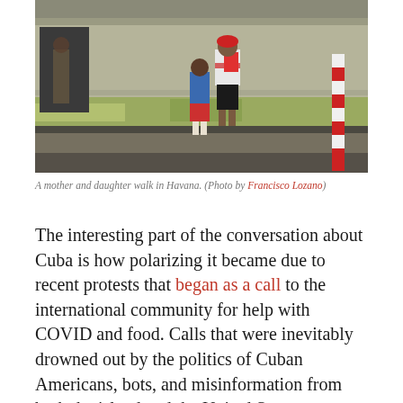[Figure (photo): A mother and daughter walk in Havana, viewed from behind on a street sidewalk with a weathered building wall and a red and white striped pole.]
A mother and daughter walk in Havana. (Photo by Francisco Lozano)
The interesting part of the conversation about Cuba is how polarizing it became due to recent protests that began as a call to the international community for help with COVID and food. Calls that were inevitably drowned out by the politics of Cuban Americans, bots, and misinformation from both the island and the United States. Previously, most Americans ignored Cuba. Many don't know about the protests six months ago any more than they do about protests six decades ago. But those same people seem to have plenty of very